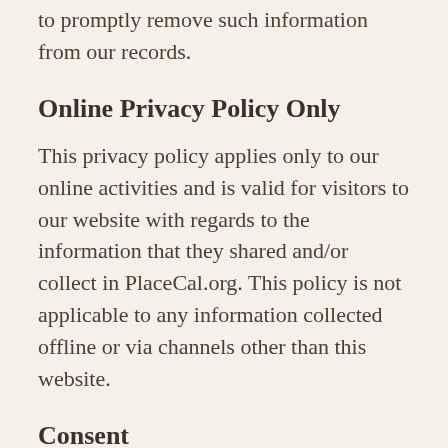to promptly remove such information from our records.
Online Privacy Policy Only
This privacy policy applies only to our online activities and is valid for visitors to our website with regards to the information that they shared and/or collect in PlaceCal.org. This policy is not applicable to any information collected offline or via channels other than this website.
Consent
By using our website, you hereby consent to our Privacy Policy and agree to its Terms and Conditions.